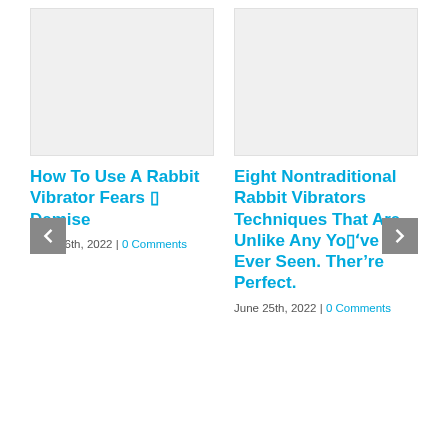[Figure (photo): Placeholder image for blog post: How To Use A Rabbit Vibrator Fears And Demise]
[Figure (photo): Placeholder image for blog post: Eight Nontraditional Rabbit Vibrators Techniques That Are Unlike Any You've Ever Seen. Ther're Perfect.]
How To Use A Rabbit Vibrator Fears — Demise
June 26th, 2022 | 0 Comments
Eight Nontraditional Rabbit Vibrators Techniques That Are Unlike Any You’ve Ever Seen. Ther’re Perfect.
June 25th, 2022 | 0 Comments